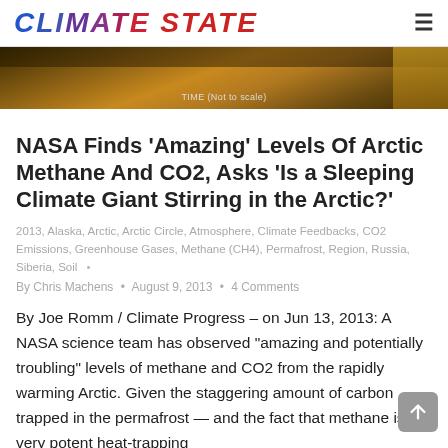CLIMATE STATE
[Figure (photo): Dark golden/amber colored sky or atmospheric image with text overlay reading 'TIME (Not to scale)']
NASA Finds ‘Amazing’ Levels Of Arctic Methane And CO2, Asks ‘Is a Sleeping Climate Giant Stirring in the Arctic?’
2013, Alaska, Arctic, Arctic Circle, Atmosphere, Climate Feedbacks, CO2 Emissions, Greenhouse Gases, Methane (CH4), Permafrost, Region, Russia, Siberia, Soil
By Chris Machens • August 9, 2013 • 4 Comments
By Joe Romm / Climate Progress – on Jun 13, 2013: A NASA science team has observed “amazing and potentially troubling” levels of methane and CO2 from the rapidly warming Arctic. Given the staggering amount of carbon trapped in the permafrost — and the fact that methane is a very potent heat-trapping